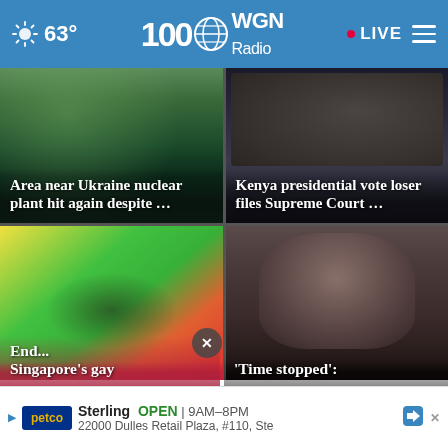63° WGN Radio 100 LIVE
[Figure (photo): News card: Area near Ukraine nuclear plant hit again despite ... — photo of forested/military area]
[Figure (photo): News card: Kenya presidential vote loser files Supreme Court ... — photo of man in patterned shirt surrounded by people]
[Figure (photo): News card: End... Singapore's gay ... — photo with colorful flag/fabric and person]
[Figure (photo): News card: 'Time stopped': — photo of woman looking at camera]
Sterling OPEN | 9AM–8PM 22000 Dulles Retail Plaza, #110, Ste